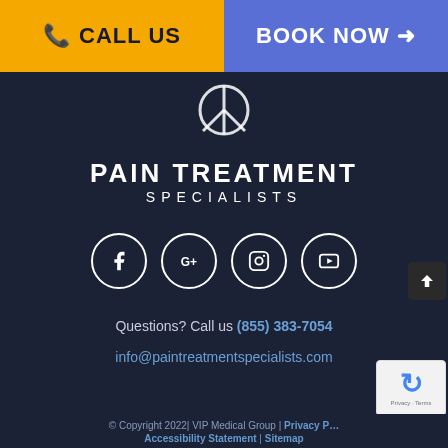[Figure (other): Orange Call Us button with phone icon on left half of top bar]
[Figure (other): Blue Book Now button with arrow icon on right half of top bar]
[Figure (logo): Peace symbol / logo icon in white on dark background]
PAIN TREATMENT SPECIALISTS
[Figure (other): Four social media icons in white circles: Facebook, Google+, Instagram, YouTube]
Questions? Call us (855) 383-7054
info@paintreatmentspecialists.com
© Copyright 2022| VIP Medical Group | Privacy P... Accessibility Statement | Sitemap